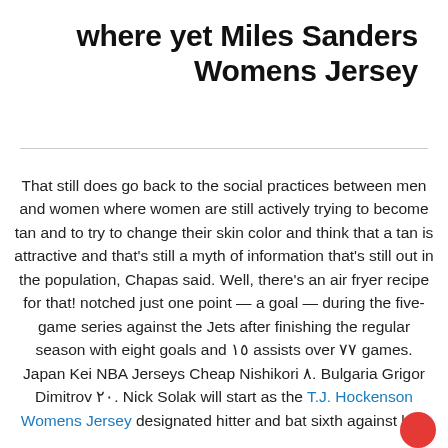where yet Miles Sanders Womens Jersey
That still does go back to the social practices between men and women where women are still actively trying to become tan and to try to change their skin color and think that a tan is attractive and that's still a myth of information that's still out in the population, Chapas said. Well, there's an air fryer recipe for that! notched just one point — a goal — during the five-game series against the Jets after finishing the regular season with eight goals and ١٥ assists over ٧٧ games. Japan Kei NBA Jerseys Cheap Nishikori ٨. Bulgaria Grigor Dimitrov ٢٠. Nick Solak will start as the T.J. Hockenson Womens Jersey designated hitter and bat sixth against left-hander Dan Pettitte. CHARLOTTE, N.C. C...